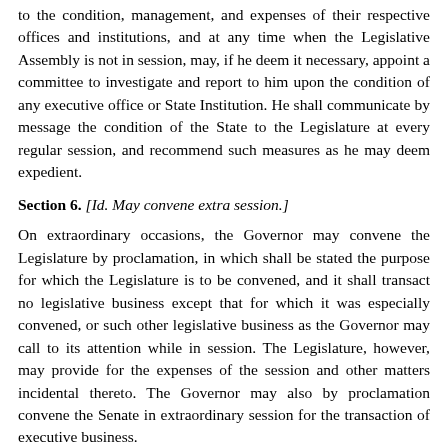to the condition, management, and expenses of their respective offices and institutions, and at any time when the Legislative Assembly is not in session, may, if he deem it necessary, appoint a committee to investigate and report to him upon the condition of any executive office or State Institution. He shall communicate by message the condition of the State to the Legislature at every regular session, and recommend such measures as he may deem expedient.
Section 6. [Id. May convene extra session.]
On extraordinary occasions, the Governor may convene the Legislature by proclamation, in which shall be stated the purpose for which the Legislature is to be convened, and it shall transact no legislative business except that for which it was especially convened, or such other legislative business as the Governor may call to its attention while in session. The Legislature, however, may provide for the expenses of the session and other matters incidental thereto. The Governor may also by proclamation convene the Senate in extraordinary session for the transaction of executive business.
Section 7. [Id. May adjourn legislature, when.]
In case of a disagreement between the two houses of the Legislature at any special session, with respect to the time of adjournment, the